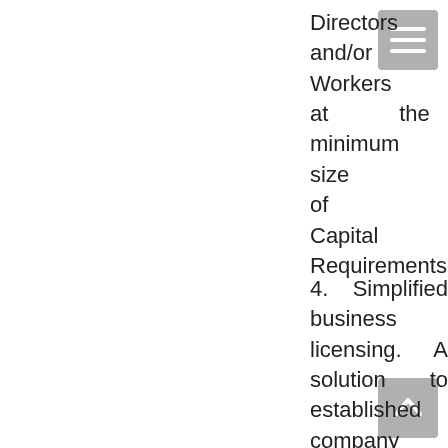Directors and/or Workers at the minimum size of Capital Requirements
4. Simplified business licensing. A solution to established company willing to